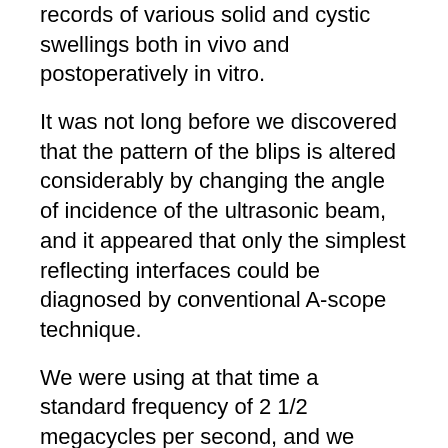records of various solid and cystic swellings both in vivo and postoperatively in vitro.
It was not long before we discovered that the pattern of the blips is altered considerably by changing the angle of incidence of the ultrasonic beam, and it appeared that only the simplest reflecting interfaces could be diagnosed by conventional A-scope technique.
We were using at that time a standard frequency of 2 1/2 megacycles per second, and we compared the quality of echoes from the same subjects at 5/8, 1 1/4, and 5 mega-cycles as well, but we appeared to obtain the best results at 2 1/2 megacycles. The higher the frequency and therefore the shorter the wavelength the greater can be the resolution; but attenuation within the transmitting medium also increases with the frequency, as does "scatter", which confuses the picture, and therefore range is restricted for a